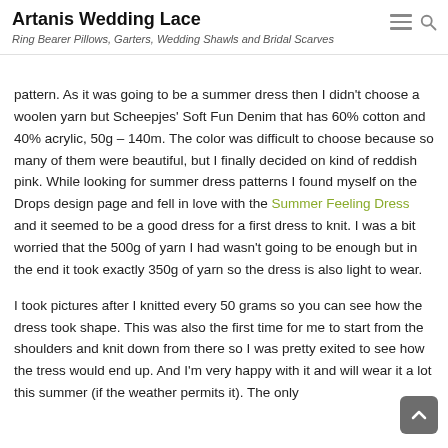Artanis Wedding Lace
Ring Bearer Pillows, Garters, Wedding Shawls and Bridal Scarves
pattern. As it was going to be a summer dress then I didn't choose a woolen yarn but Scheepjes' Soft Fun Denim that has 60% cotton and 40% acrylic, 50g – 140m. The color was difficult to choose because so many of them were beautiful, but I finally decided on kind of reddish pink. While looking for summer dress patterns I found myself on the Drops design page and fell in love with the Summer Feeling Dress and it seemed to be a good dress for a first dress to knit. I was a bit worried that the 500g of yarn I had wasn't going to be enough but in the end it took exactly 350g of yarn so the dress is also light to wear.
I took pictures after I knitted every 50 grams so you can see how the dress took shape. This was also the first time for me to start from the shoulders and knit down from there so I was pretty exited to see how the tress would end up. And I'm very happy with it and will wear it a lot this summer (if the weather permits it). The only